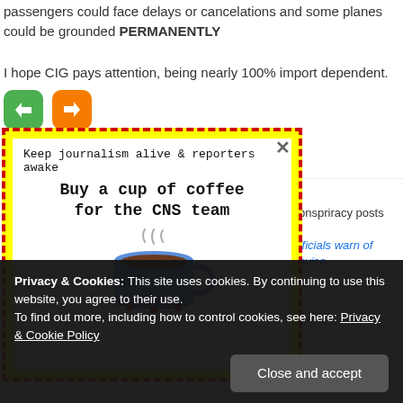passengers could face delays or cancelations and some planes could be grounded PERMANENTLY
I hope CIG pays attention, being nearly 100% import dependent.
[Figure (illustration): Green thumbs-up button and orange thumbs-down button for voting]
[Figure (infographic): Yellow dashed-border popup ad: 'Keep journalism alive & reporters awake – Buy a cup of coffee for the CNS team' with coffee cup illustration and close X button]
bnspriracy posts
fficials warn of
nviso
Privacy & Cookies: This site uses cookies. By continuing to use this website, you agree to their use.
To find out more, including how to control cookies, see here: Privacy & Cookie Policy